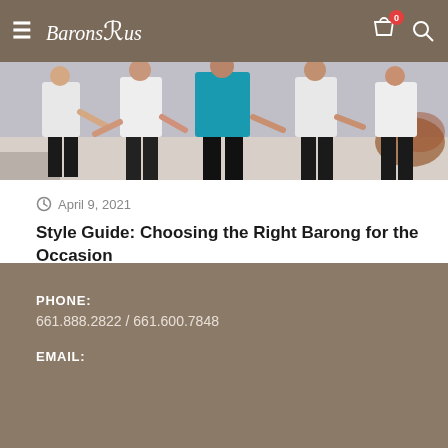BarongsRus
[Figure (photo): Group of people wearing white barong tagalog shirts and black pants walking outdoors, with one person in a teal/turquoise top visible in the center.]
April 9, 2021
Style Guide: Choosing the Right Barong for the Occasion
Read More ▶
PHONE:
661.888.2822 / 661.600.7848

EMAIL: